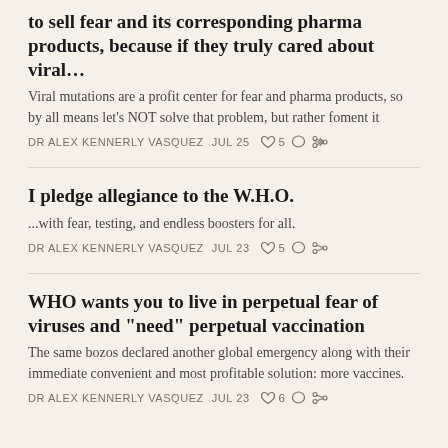to sell fear and its corresponding pharma products, because if they truly cared about viral…
Viral mutations are a profit center for fear and pharma products, so by all means let's NOT solve that problem, but rather foment it
DR ALEX KENNERLY VASQUEZ  JUL 25  ♡ 5
I pledge allegiance to the W.H.O.
...with fear, testing, and endless boosters for all.
DR ALEX KENNERLY VASQUEZ  JUL 23  ♡ 5
WHO wants you to live in perpetual fear of viruses and "need" perpetual vaccination
The same bozos declared another global emergency along with their immediate convenient and most profitable solution: more vaccines.
DR ALEX KENNERLY VASQUEZ  JUL 23  ♡ 6